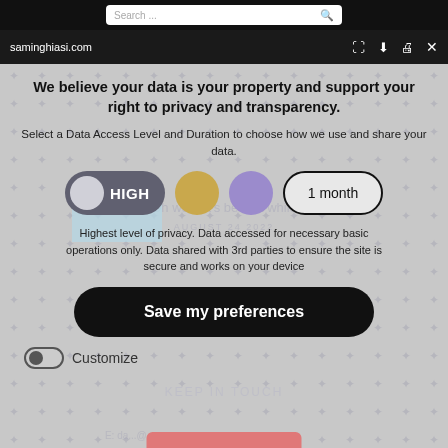Search... [icons]
saminghiasi.com [expand] [download] [print] [close]
We believe your data is your property and support your right to privacy and transparency.
Select a Data Access Level and Duration to choose how we use and share your data.
HIGH  1 month
Highest level of privacy. Data accessed for necessary basic operations only. Data shared with 3rd parties to ensure the site is secure and works on your device
KEEP IN TOUCH
Save my preferences
E: da...@...
Customize